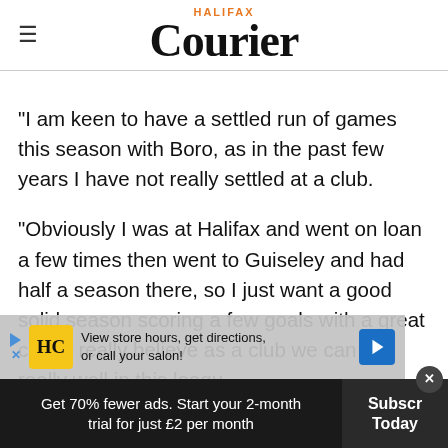HALIFAX Courier
"I am keen to have a settled run of games this season with Boro, as in the past few years I have not really settled at a club.
"Obviously I was at Halifax and went on loan a few times then went to Guiseley and had half a season there, so I just want a good solid season scoring a few goals with a great club. I really believe as a club we can do really well in this league
[Figure (infographic): Advertisement overlay: HC logo, 'View store hours, get directions, or call your salon!' with navigation arrow icon]
Get 70% fewer ads. Start your 2-month trial for just £2 per month | Subscribe Today